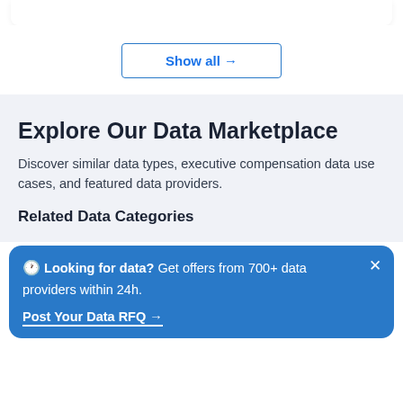[Figure (screenshot): Top white rounded card bottom edge]
Show all →
Explore Our Data Marketplace
Discover similar data types, executive compensation data use cases, and featured data providers.
Related Data Categories
🕐 Looking for data? Get offers from 700+ data providers within 24h.
Post Your Data RFQ →